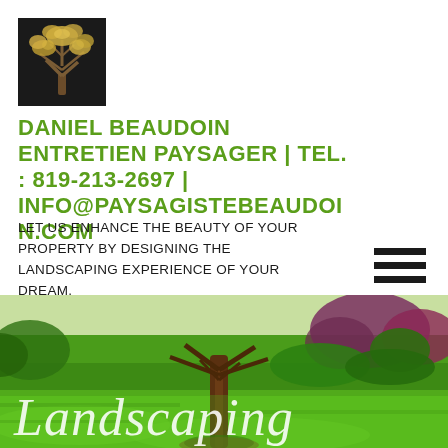[Figure (logo): Dark background square with a golden/white stylized tree illustration — company logo]
DANIEL BEAUDOIN ENTRETIEN PAYSAGER | TEL. : 819-213-2697 | INFO@PAYSAGISTEBEAUDOIN.COM
LET US ENHANCE THE BEAUTY OF YOUR PROPERTY BY DESIGNING THE LANDSCAPING EXPERIENCE OF YOUR DREAM.
[Figure (illustration): Hamburger menu icon — three horizontal black bars]
[Figure (photo): Landscape photo showing lush green lawn with a tree in the center and colorful trees/shrubs in the background, partially visible text 'Landscaping' in italic white at the bottom]